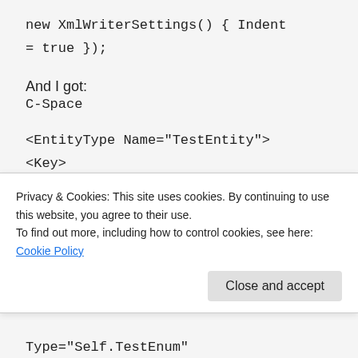new XmlWriterSettings() { Indent = true });
And I got:
C-Space
<EntityType Name="TestEntity">
<Key>
<PropertyRef Name="Id" />
</Key>
<Property Name="Id" Type="Int32"
Privacy & Cookies: This site uses cookies. By continuing to use this website, you agree to their use.
To find out more, including how to control cookies, see here: Cookie Policy
Close and accept
Type="Self.TestEnum"